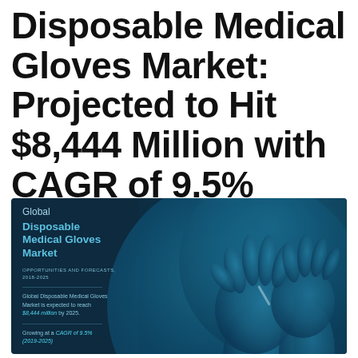Disposable Medical Gloves Market: Projected to Hit $8,444 Million with CAGR of 9.5%
[Figure (infographic): Dark blue infographic card for Global Disposable Medical Gloves Market report. Left side shows report title text: 'Global Disposable Medical Gloves Market', subtitle 'OPPORTUNITIES AND FORECASTS, 2018-2025', body text stating market expected to reach $8,444 million by 2025, growing at CAGR of 9.5% (2019-2025). Right side shows a teal/blue-tinted photograph of gloved hands.]